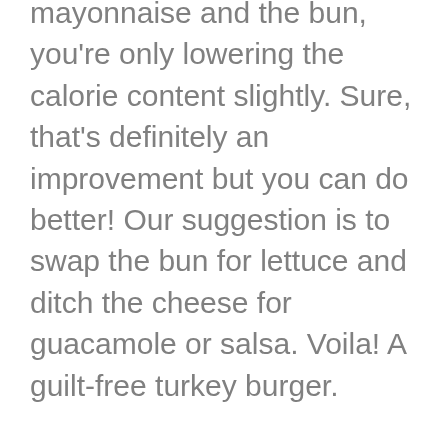mayonnaise and the bun, you're only lowering the calorie content slightly. Sure, that's definitely an improvement but you can do better! Our suggestion is to swap the bun for lettuce and ditch the cheese for guacamole or salsa. Voila! A guilt-free turkey burger.